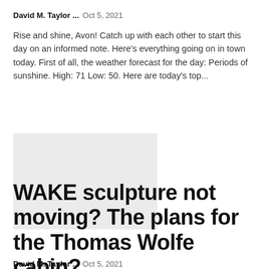David M. Taylor ...  Oct 5, 2021
Rise and shine, Avon! Catch up with each other to start this day on an informed note. Here's everything going on in town today. First of all, the weather forecast for the day: Periods of sunshine. High: 71 Low: 50. Here are today's top...
[Figure (photo): Light gray placeholder image thumbnail]
WAKE sculpture not moving? The plans for the Thomas Wolfe cabin?
David M. Taylor ...  Oct 5, 2021